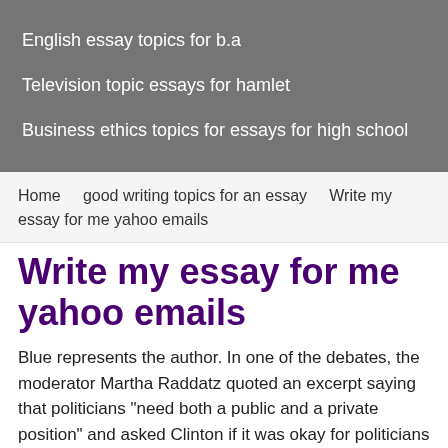English essay topics for b.a
Television topic essays for hamlet
Business ethics topics for essays for high school
Home   good writing topics for an essay   Write my essay for me yahoo emails
Write my essay for me yahoo emails
Blue represents the author. In one of the debates, the moderator Martha Raddatz quoted an excerpt saying that politicians "need both a public and a private position" and asked Clinton if it was okay for politicians to be "two-faced".